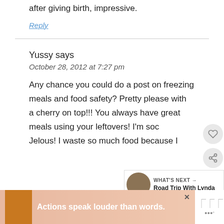after giving birth, impressive.
Reply
Yussy says
October 28, 2012 at 7:27 pm
Any chance you could do a post on freezing meals and food safety? Pretty please with a cherry on top!!! You always have great meals using your leftovers! I'm soc Jelous! I waste so much food because I